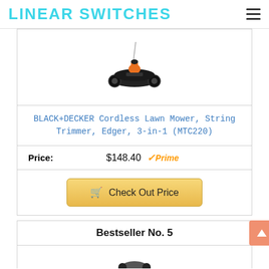LINEAR SWITCHES
[Figure (photo): BLACK+DECKER MTC220 cordless lawn mower / string trimmer / edger 3-in-1 product image showing a small wheeled device with orange and black parts]
BLACK+DECKER Cordless Lawn Mower, String Trimmer, Edger, 3-in-1 (MTC220)
Price: $148.40 Prime
Check Out Price
Bestseller No. 5